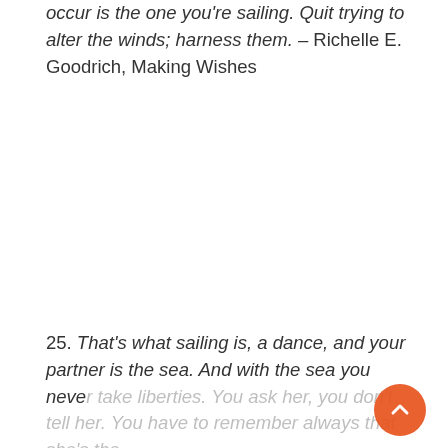occur is the one you're sailing. Quit trying to alter the winds; harness them. – Richelle E. Goodrich, Making Wishes
25. That's what sailing is, a dance, and your partner is the sea. And with the sea you never take liberties. You ask her, you don't tell her. You have to remember always that she's the